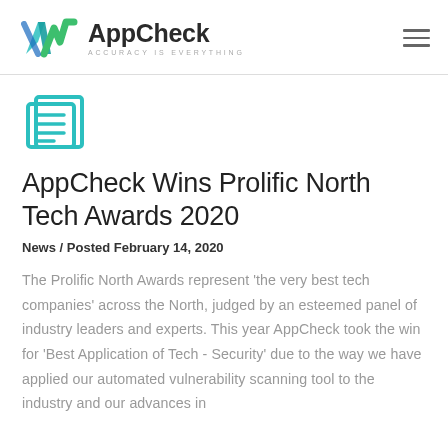AppCheck — ACCURACY IS EVERYTHING
[Figure (logo): AppCheck logo with teal/green checkmark icon and text 'AppCheck' with tagline 'ACCURACY IS EVERYTHING']
[Figure (illustration): Newspaper/article icon in teal/cyan outline style]
AppCheck Wins Prolific North Tech Awards 2020
News / Posted February 14, 2020
The Prolific North Awards represent 'the very best tech companies' across the North, judged by an esteemed panel of industry leaders and experts. This year AppCheck took the win for 'Best Application of Tech - Security' due to the way we have applied our automated vulnerability scanning tool to the industry and our advances in